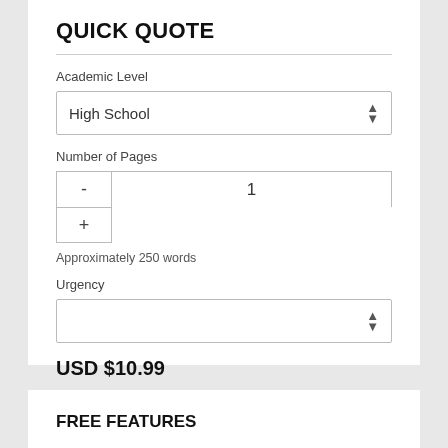QUICK QUOTE
Academic Level
High School
Number of Pages
1
Approximately 250 words
Urgency
USD $10.99
ORDER NOW
FREE FEATURES